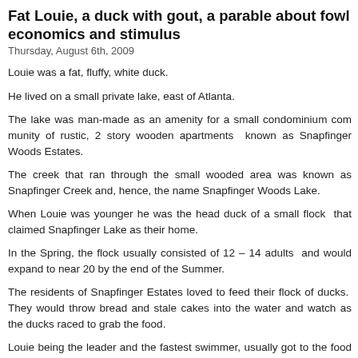Fat Louie, a duck with gout, a parable about fowl economics and stimulus
Thursday, August 6th, 2009
Louie was a fat, fluffy, white duck.
He lived on a small private lake, east of Atlanta.
The lake was man-made as an amenity for a small condominium community of rustic, 2 story wooden apartments  known as Snapfinger Woods Estates.
The creek that ran through the small wooded area was known as Snapfinger Creek and, hence, the name Snapfinger Woods Lake.
When Louie was younger he was the head duck of a small flock  that claimed Snapfinger Lake as their home.
In the Spring, the flock usually consisted of 12 – 14 adults  and would expand to near 20 by the end of the Summer.
The residents of Snapfinger Estates loved to feed their flock of ducks.  They would throw bread and stale cakes into the water and watch as the ducks raced to grab the food.
Louie being the leader and the fastest swimmer, usually got to the food first and would gobble the morsels in a splashing frenzy of duck gluttony.
As the seasons passed, Louie got bigger and fatter from eating all the rich carb foods.